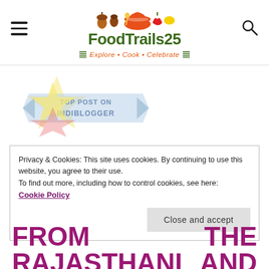[Figure (logo): FoodTrails25 logo with food icons (acorn, nut, bowl, vegetables), green bold text 'FoodTrails25', orange italic tagline 'Explore • Cook • Celebrate' with green curly braces, hamburger menu icon on left, search icon on right]
[Figure (illustration): Top Post on IndiBlogger badge — a star with ribbon banner saying 'TOP POST ON INDIBLOGGER' in light blue and cream watermark style]
Privacy & Cookies: This site uses cookies. By continuing to use this website, you agree to their use.
To find out more, including how to control cookies, see here:
Cookie Policy
Close and accept
FROM   THE
RAJASTHANI   AND